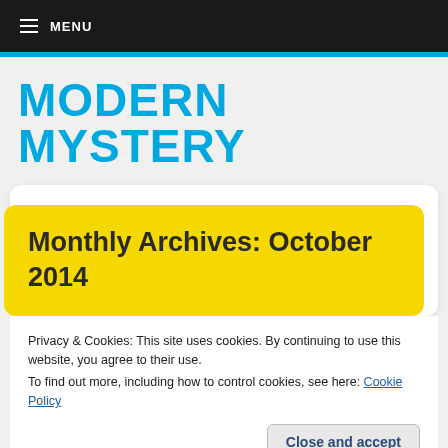≡ MENU
MODERN MYSTERY
Monthly Archives: October 2014
Privacy & Cookies: This site uses cookies. By continuing to use this website, you agree to their use.
To find out more, including how to control cookies, see here: Cookie Policy
Close and accept